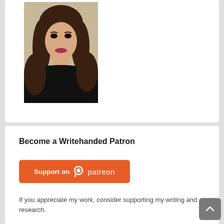[Figure (photo): Portrait photo of a woman with brown wavy hair and bangs, wearing a black top, against a beige/cream background.]
Become a Writehanded Patron
[Figure (logo): Patreon button: orange/red rounded rectangle button with 'Support on' text and Patreon logo icon and 'patreon' wordmark in white.]
If you appreciate my work, consider supporting my writing and research.